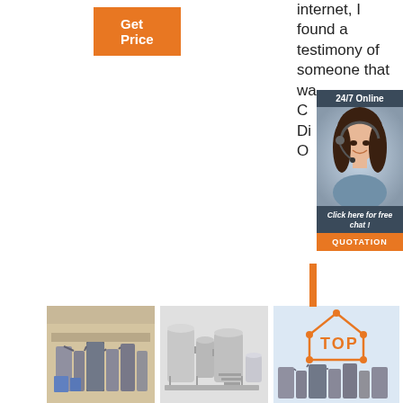[Figure (other): Orange 'Get Price' button]
internet, I found a testimony of someone that wa... C... Di... O...
[Figure (infographic): 24/7 Online chat widget with customer service representative photo, 'Click here for free chat!' CTA and QUOTATION button]
[Figure (photo): Three product photos: industrial flour milling machine, stainless steel processing equipment, and TOP branded machinery]
[Figure (other): Orange vertical bar accent]
[Figure (photo): Industrial processing machinery photo 1]
[Figure (photo): Industrial processing machinery photo 2]
[Figure (photo): Industrial processing machinery photo 3 with TOP logo]